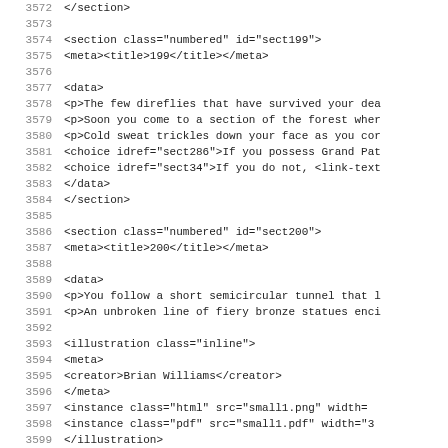Code listing lines 3572-3603 showing XML source for a gamebook, sections sect199 and sect200.